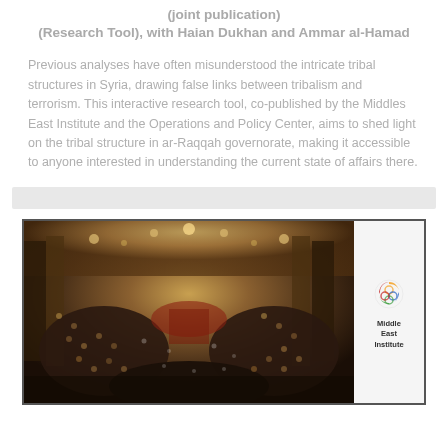(joint publication)
(Research Tool), with Haian Dukhan and Ammar al-Hamad
Previous analyses have often misunderstood the intricate tribal structures in Syria, drawing false links between tribalism and terrorism. This interactive research tool, co-published by the Middles East Institute and the Operations and Policy Center, aims to shed light on the tribal structure in ar-Raqqah governorate, making it accessible to anyone interested in understanding the current state of affairs there.
[Figure (photo): Overhead view of a large gathering in an ornate hall with people seated in rows, appearing to be a tribal or political assembly, with a Middle East Institute logo visible]